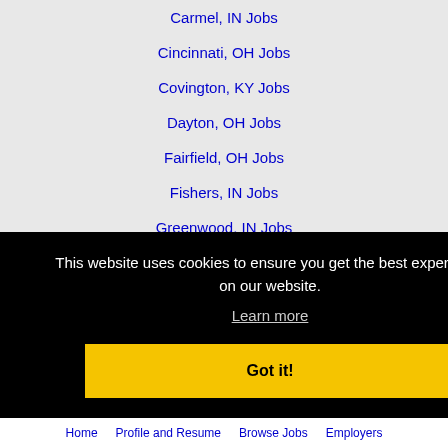Carmel, IN Jobs
Cincinnati, OH Jobs
Covington, KY Jobs
Dayton, OH Jobs
Fairfield, OH Jobs
Fishers, IN Jobs
Greenwood, IN Jobs
Hamilton, OH Jobs
Kokomo, IN Jobs
Lafayette, IN Jobs
This website uses cookies to ensure you get the best experience on our website.
Learn more
Got it!
Home   Profile and Resume   Browse Jobs   Employers